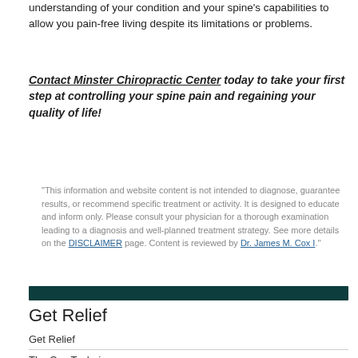understanding of your condition and your spine's capabilities to allow you pain-free living despite its limitations or problems.
Contact Minster Chiropractic Center today to take your first step at controlling your spine pain and regaining your quality of life!
"This information and website content is not intended to diagnose, guarantee results, or recommend specific treatment or activity. It is designed to educate and inform only. Please consult your physician for a thorough examination leading to a diagnosis and well-planned treatment strategy. See more details on the DISCLAIMER page. Content is reviewed by Dr. James M. Cox I."
Get Relief
Get Relief
The Cox Technic
Research
Control, Not Cure